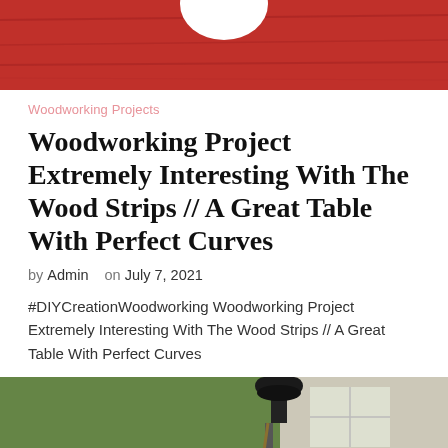[Figure (photo): Close-up of a red wooden surface with a white circular shape visible at the top]
Woodworking Projects
Woodworking Project Extremely Interesting With The Wood Strips // A Great Table With Perfect Curves
by Admin   on July 7, 2021
#DIYCreationWoodworking Woodworking Project Extremely Interesting With The Wood Strips // A Great Table With Perfect Curves
[Figure (photo): Workshop scene showing woodworking equipment and a lamp over a wooden workpiece, with greenery visible in the background]